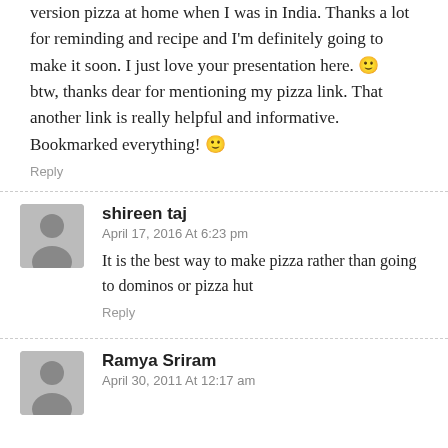version pizza at home when I was in India. Thanks a lot for reminding and recipe and I'm definitely going to make it soon. I just love your presentation here. 🙂 btw, thanks dear for mentioning my pizza link. That another link is really helpful and informative. Bookmarked everything! 🙂
Reply
shireen taj
April 17, 2016 At 6:23 pm
It is the best way to make pizza rather than going to dominos or pizza hut
Reply
Ramya Sriram
April 30, 2011 At 12:17 am